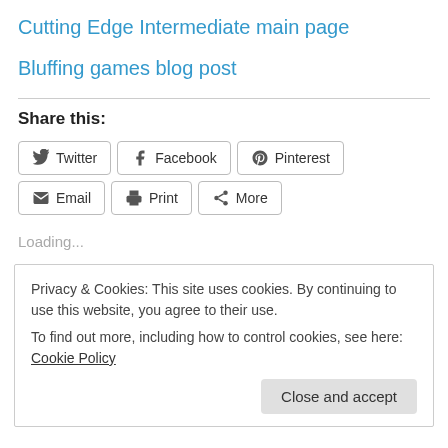Cutting Edge Intermediate main page
Bluffing games blog post
Share this:
Twitter Facebook Pinterest Email Print More
Loading...
Privacy & Cookies: This site uses cookies. By continuing to use this website, you agree to their use.
To find out more, including how to control cookies, see here: Cookie Policy
Close and accept